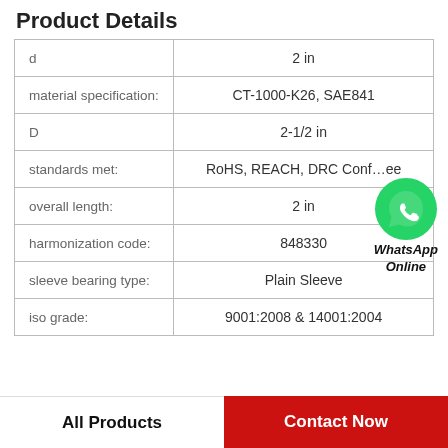Product Details
| Property | Value |
| --- | --- |
| d | 2 in |
| material specification: | CT-1000-K26, SAE841 |
| D | 2-1/2 in |
| standards met: | RoHS, REACH, DRC Conflict Free |
| overall length: | 2 in |
| harmonization code: | 848330 |
| sleeve bearing type: | Plain Sleeve |
| iso grade: | 9001:2008 & 14001:2004 |
[Figure (logo): WhatsApp Online button with green phone icon and italic bold text 'WhatsApp Online']
All Products    Contact Now